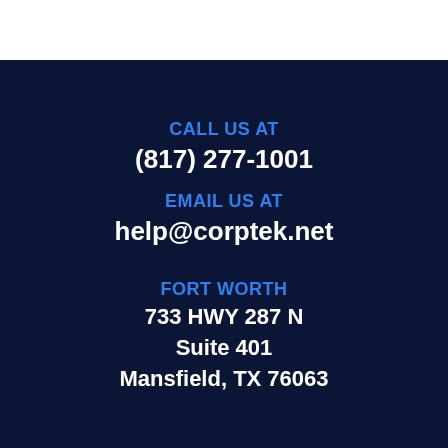CALL US AT
(817) 277-1001
EMAIL US AT
help@corptek.net
FORT WORTH
733 HWY 287 N
Suite 401
Mansfield, TX 76063